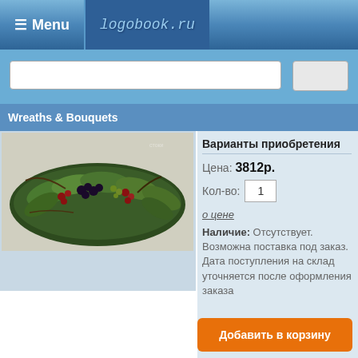≡ Menu   logobook.ru
Wreaths & Bouquets
[Figure (photo): A wreath/bouquet arrangement with dark berries, red berries, green leaves and branches on a light background]
Варианты приобретения
Цена: 3812р.
Кол-во: 1
о цене
Наличие: Отсутствует. Возможна поставка под заказ. Дата поступления на склад уточняется после оформления заказа
Добавить в корзину